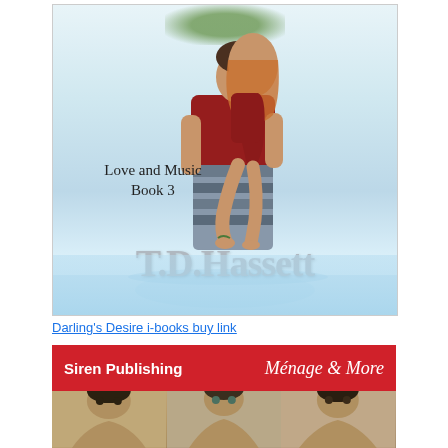[Figure (illustration): Book cover for 'Love and Music Book 3' by T.D. Hassett showing a couple embracing, with the man lifting the woman. Text reads 'Love and Music Book 3' and 'T.D.Hassett' in large letters at the bottom.]
Darling's Desire i-books buy link
[Figure (illustration): Siren Publishing banner ad in red with text 'Siren Publishing' on the left and 'Menage & More' in italic script on the right.]
[Figure (photo): Photo showing three shirtless men partially visible from the chest up against a light background.]